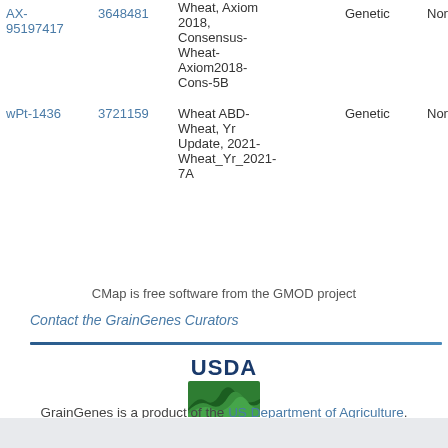| Marker | ID | Map/Linkage Group | Map Type | Evidence | Feature |
| --- | --- | --- | --- | --- | --- |
| AX-95197417 | 3648481 | Wheat, Axiom 2018, Consensus-Wheat-Axiom2018-Cons-5B | Genetic | None | Autom... name... |
| wPt-1436 | 3721159 | Wheat ABD-Wheat, Yr Update, 2021-Wheat_Yr_2021-7A | Genetic | None | Autom... name... |
CMap is free software from the GMOD project
Contact the GrainGenes Curators
[Figure (logo): USDA logo with text and green landscape icon]
GrainGenes is a product of the US Department of Agriculture.